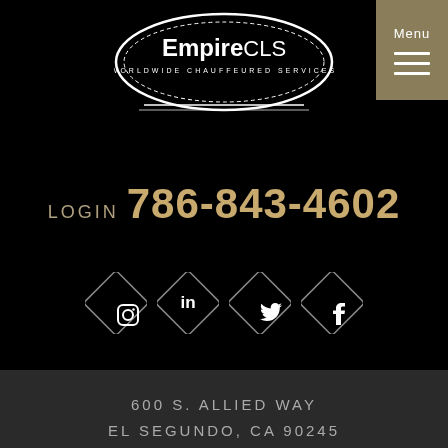[Figure (logo): EmpireCLS Worldwide Chauffeured Services logo - white oval with company name]
LOGIN  786-843-4602
[Figure (illustration): Four diamond-shaped social media icons: Instagram, LinkedIn, Twitter, Facebook]
600 S. ALLIED WAY
EL SEGUNDO, CA 90245
[Figure (illustration): Four diamond-shaped social media icons (smaller): Instagram, LinkedIn, Twitter, Facebook]
This website uses cookies to improve your experience. We'll assume you're ok with this, but you can opt-out if you wish.
Accept  Read More